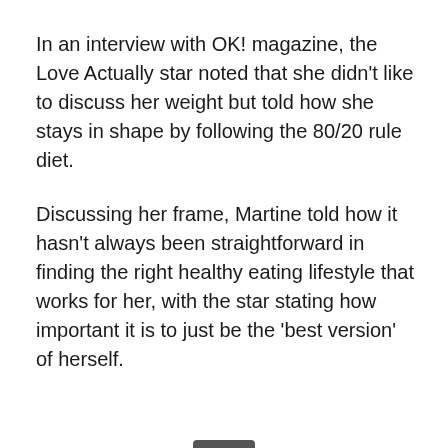In an interview with OK! magazine, the Love Actually star noted that she didn't like to discuss her weight but told how she stays in shape by following the 80/20 rule diet.
Discussing her frame, Martine told how it hasn't always been straightforward in finding the right healthy eating lifestyle that works for her, with the star stating how important it is to just be the 'best version' of herself.